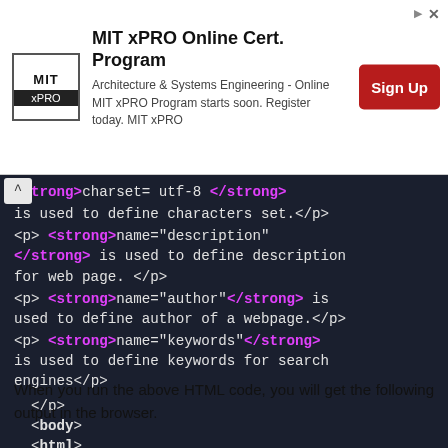[Figure (screenshot): MIT xPRO Online Cert. Program advertisement banner with logo, description text, and Sign Up button]
[Figure (screenshot): Dark-themed HTML code editor screenshot showing meta tag descriptions with colored syntax highlighting. Code shows charset, description, author, and keywords meta tags with strong elements, followed by closing p, body, and html tags.]
When you run the above HTML code, you will get the following output in the browser.